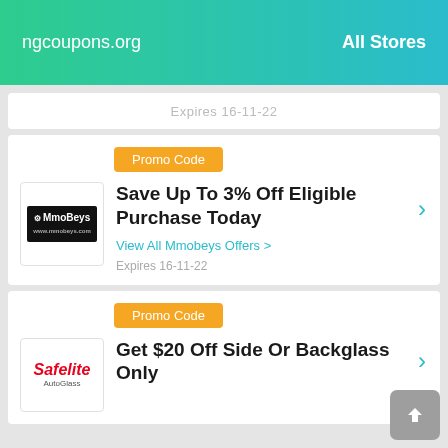ngcoupons.org   All Stores
Expires 16-11-22 (partial card, cropped)
Promo Code
Save Up To 3% Off Eligible Purchase Today
View All Mmobeys Offers >
Expires 16-11-22
Promo Code
Get $20 Off Side Or Backglass Only